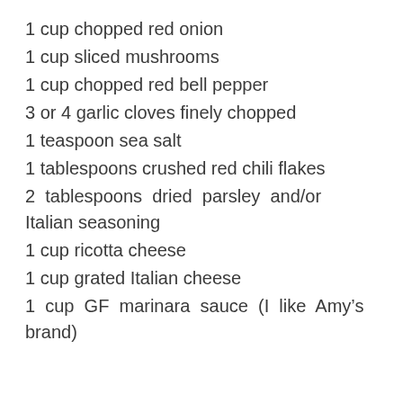1 cup chopped red onion
1 cup sliced mushrooms
1 cup chopped red bell pepper
3 or 4 garlic cloves finely chopped
1 teaspoon sea salt
1 tablespoons crushed red chili flakes
2 tablespoons dried parsley and/or Italian seasoning
1 cup ricotta cheese
1 cup grated Italian cheese
1 cup GF marinara sauce (I like Amy's brand)